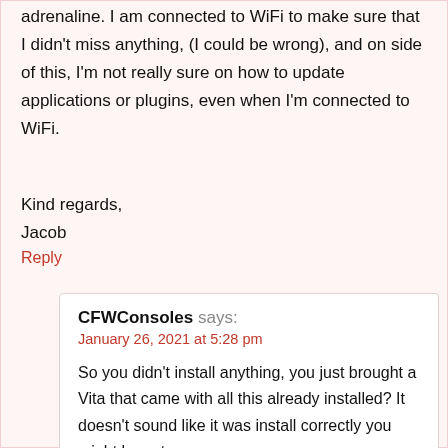adrenaline. I am connected to WiFi to make sure that I didn't miss anything, (I could be wrong), and on side of this, I'm not really sure on how to update applications or plugins, even when I'm connected to WiFi.
Kind regards,
Jacob
Reply
CFWConsoles says:
January 26, 2021 at 5:28 pm
So you didn't install anything, you just brought a Vita that came with all this already installed? It doesn't sound like it was install correctly you might have to